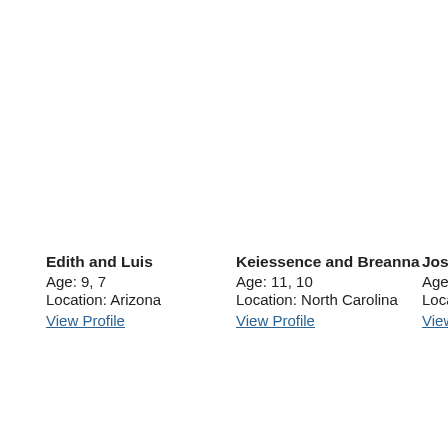Edith and Luis
Age: 9, 7
Location: Arizona
View Profile
Keiessence and Breanna
Age: 11, 10
Location: North Carolina
View Profile
Jose
Age:
Loca
View
Ask a resource specialist
Each day, foster care and adoption resource specialists at AdoptUSKids answer questions from people across the country who want to know more about becoming a foster parent and the children who are waiting for adoption. Here is one of those conversations.
After a lot of thought and discussion, we started our adoption a